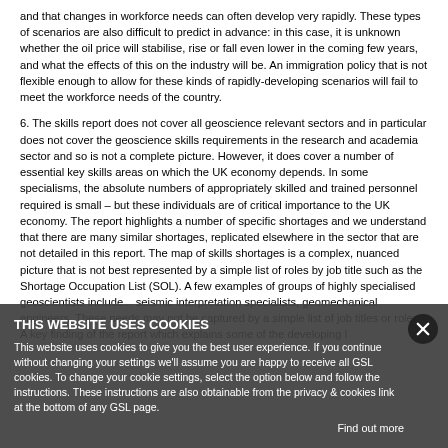and that changes in workforce needs can often develop very rapidly. These types of scenarios are also difficult to predict in advance: in this case, it is unknown whether the oil price will stabilise, rise or fall even lower in the coming few years, and what the effects of this on the industry will be. An immigration policy that is not flexible enough to allow for these kinds of rapidly-developing scenarios will fail to meet the workforce needs of the country.
6. The skills report does not cover all geoscience relevant sectors and in particular does not cover the geoscience skills requirements in the research and academia sector and so is not a complete picture. However, it does cover a number of essential key skills areas on which the UK economy depends. In some specialisms, the absolute numbers of appropriately skilled and trained personnel required is small – but these individuals are of critical importance to the UK economy. The report highlights a number of specific shortages and we understand that there are many similar shortages, replicated elsewhere in the sector that are not detailed in this report. The map of skills shortages is a complex, nuanced picture that is not best represented by a simple list of roles by job title such as the Shortage Occupation List (SOL). A few examples of groups of highly specialised geoscientists include... seismic interpretation specialists, geomechanical engineers, These needs may not be captured by a simple list of job titles or roles. A key finding of the report which explains some of the developing l
THIS WEBSITE USES COOKIES

This website uses cookies to give you the best user experience. If you continue without changing your settings we'll assume you are happy to receive all GSL cookies. To change your cookie settings, select the option below and follow the instructions. These instructions are also obtainable from the privacy & cookies link at the bottom of any GSL page.

Find out more